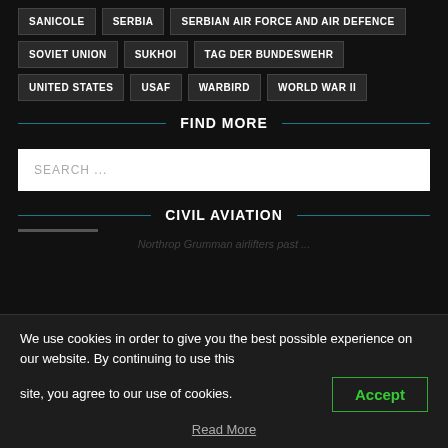SANICOLE
SERBIA
SERBIAN AIR FORCE AND AIR DEFENCE
SOVIET UNION
SUKHOI
TAG DER BUNDESWEHR
UNITED STATES
USAF
WARBIRD
WORLD WAR II
FIND MORE
SEARCH ...
CIVIL AVIATION
We use cookies in order to give you the best possible experience on our website. By continuing to use this site, you agree to our use of cookies.
Accept
Read More